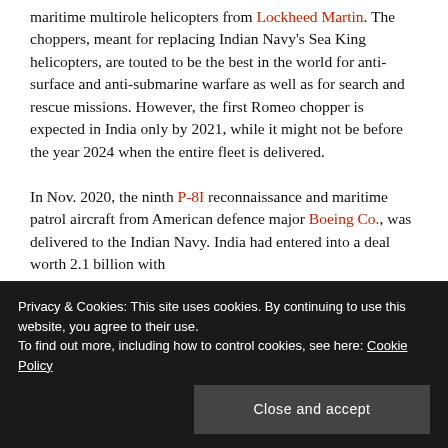maritime multirole helicopters from Lockheed Martin. The choppers, meant for replacing Indian Navy's Sea King helicopters, are touted to be the best in the world for anti-surface and anti-submarine warfare as well as for search and rescue missions. However, the first Romeo chopper is expected in India only by 2021, while it might not be before the year 2024 when the entire fleet is delivered.

In Nov. 2020, the ninth P-8I reconnaissance and maritime patrol aircraft from American defence major Boeing Co., was delivered to the Indian Navy. India had entered into a deal worth 2.1 billion with
Privacy & Cookies: This site uses cookies. By continuing to use this website, you agree to their use.
To find out more, including how to control cookies, see here: Cookie Policy
Close and accept